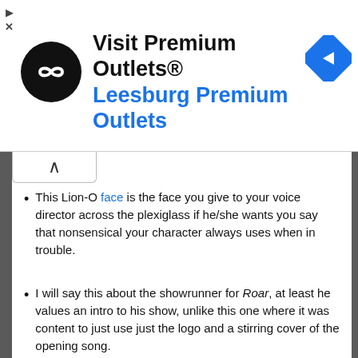[Figure (other): Advertisement banner for Visit Premium Outlets® / Leesburg Premium Outlets with black circular logo and blue diamond arrow icon]
This Lion-O face is the face you give to your voice director across the plexiglass if he/she wants you say that nonsensical your character always uses when in trouble.
I will say this about the showrunner for Roar, at least he values an intro to his show, unlike this one where it was content to just use just the logo and a stirring cover of the opening song.
Huh, with the exception of three voice actors, Earle Hyman, Earl Hammond, and Bob McFadden, the rest of the original series cast is still alive. Granted we had the original Lion-O, Larry Kenney, voice Claudus, but I wonder if they also had plans to use the remaining cast for certain cameos